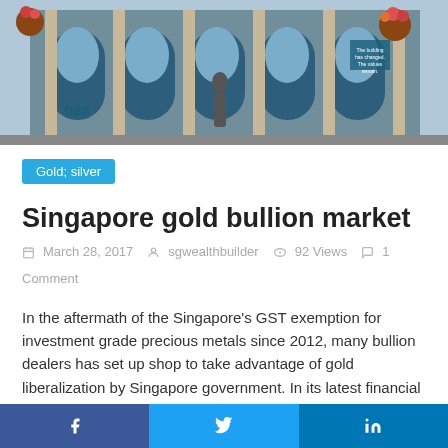[Figure (photo): Hero image of a building exterior with arched windows, teal/blue facade, and a person walking through.]
Gold; silver
Singapore gold bullion market
March 28, 2017  sgwealthbuilder  92 Views  1 Comment
In the aftermath of the Singapore’s GST exemption for investment grade precious metals since 2012, many bullion dealers has set up shop to take advantage of gold liberalization by Singapore government. In its latest financial results, it was revealed that BullionStar led in Singapore gold bullion market.
According to data released by World Gold Council, the overall bullion demand in Singapore decreased to 1.2 tonnes